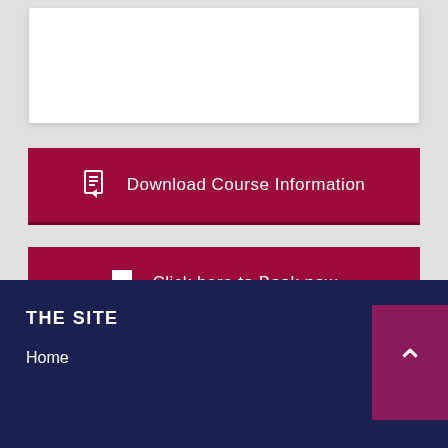[Figure (other): White card/content area at top of page]
Download Course Information
Click here to Book now
THE SITE
Home